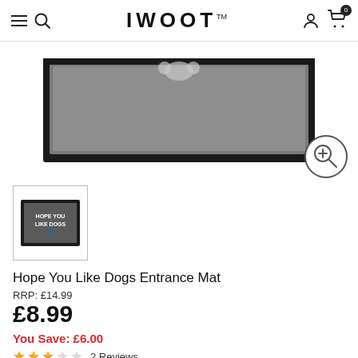IWOOT
[Figure (photo): Product photo of a grey entrance mat with black border, showing partial white bone/paw print design at the top, displayed on a white background]
[Figure (photo): Thumbnail image of the Hope You Like Dogs Entrance Mat product, showing a dark grey mat with white text reading HOPE YOU LIKE DOGS and a paw print icon, inside a white bordered thumbnail box]
Hope You Like Dogs Entrance Mat
RRP: £14.99
£8.99
You Save: £6.00
2 Reviews